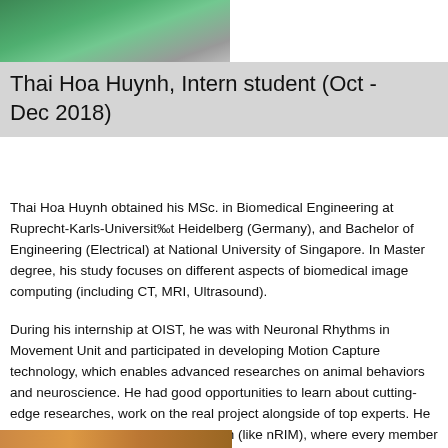[Figure (photo): Top portion of a person wearing a teal/green top, outdoors with green background]
Thai Hoa Huynh, Intern student (Oct - Dec 2018)
Thai Hoa Huynh obtained his MSc. in Biomedical Engineering at Ruprecht-Karls-Universit‰t Heidelberg (Germany), and Bachelor of Engineering (Electrical) at National University of Singapore. In Master degree, his study focuses on different aspects of biomedical image computing (including CT, MRI, Ultrasound).
During his internship at OIST, he was with Neuronal Rhythms in Movement Unit and participated in developing Motion Capture technology, which enables advanced researches on animal behaviors and neuroscience. He had good opportunities to learn about cutting-edge researches, work on the real project alongside of top experts. He loves to work in a highly diverse team (like nRIM), where every member comes from a different country.  In spare time, he enjoys learning about different cultures, exploring different cuisines and sight-seeing.
[Figure (photo): Bottom portion of another photo partially visible at the bottom of the page]